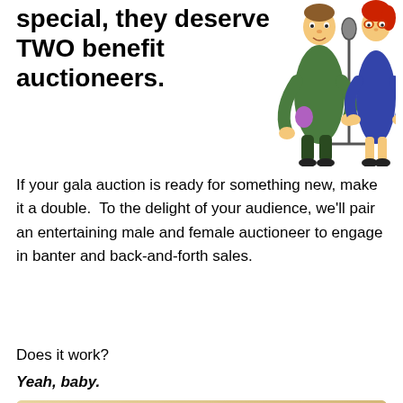special, they deserve TWO benefit auctioneers.
[Figure (illustration): Cartoon illustration of a male and female auctioneer at a microphone stand]
If your gala auction is ready for something new, make it a double.  To the delight of your audience, we'll pair an entertaining male and female auctioneer to engage in banter and back-and-forth sales.
Does it work?
Yeah, baby.
[Figure (screenshot): Video thumbnail showing a gift box with a red ribbon and a YouTube-style play button on a parchment/tan background]